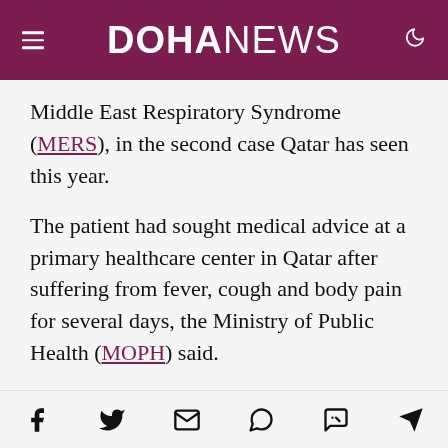DOHANEWS
Middle East Respiratory Syndrome (MERS), in the second case Qatar has seen this year.
The patient had sought medical advice at a primary healthcare center in Qatar after suffering from fever, cough and body pain for several days, the Ministry of Public Health (MOPH) said.
He tested posted for MERS and was admitted to the hospital in stable condition.
Social share icons: Facebook, Twitter, Email, WhatsApp, Messenger, Telegram